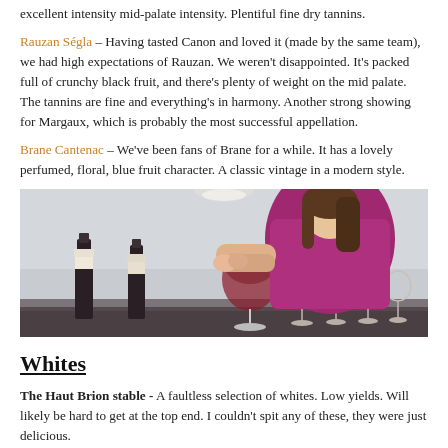excellent intensity mid-palate intensity. Plentiful fine dry tannins.
Rauzan Ségla – Having tasted Canon and loved it (made by the same team), we had high expectations of Rauzan. We weren't disappointed. It's packed full of crunchy black fruit, and there's plenty of weight on the mid palate. The tannins are fine and everything's in harmony. Another strong showing for Margaux, which is probably the most successful appellation.
Brane Cantenac – We've been fans of Brane for a while. It has a lovely perfumed, floral, blue fruit character. A classic vintage in a modern style.
[Figure (photo): A woman in a purple/magenta top examining a glass of red wine at a tasting table lined with multiple wine glasses and bottles.]
Whites
The Haut Brion stable - A faultless selection of whites. Low yields. Will likely be hard to get at the top end. I couldn't spit any of these, they were just delicious.